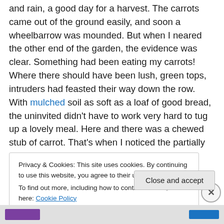and rain, a good day for a harvest. The carrots came out of the ground easily, and soon a wheelbarrow was mounded. But when I neared the other end of the garden, the evidence was clear. Something had been eating my carrots! Where there should have been lush, green tops, intruders had feasted their way down the row. With mulched soil as soft as a loaf of good bread, the uninvited didn't have to work very hard to tug up a lovely meal. Here and there was a chewed stub of carrot. That's when I noticed the partially eaten beet.
Privacy & Cookies: This site uses cookies. By continuing to use this website, you agree to their use. To find out more, including how to control cookies, see here: Cookie Policy